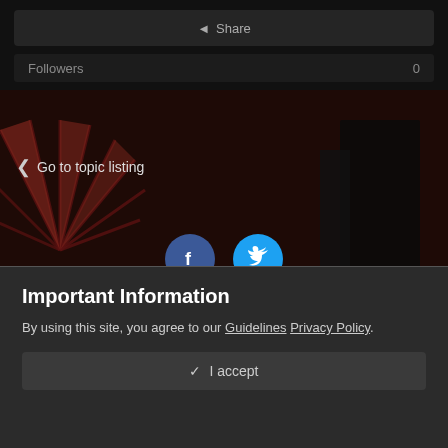◄ Share
Followers  0
[Figure (screenshot): Dark themed website background with Japanese-style red umbrella and figures in dark clothing]
< Go to topic listing
[Figure (illustration): Facebook and Twitter social media icons as blue circles with white logos]
THEME ▾   PRIVACY POLICY   CONTACT US
COPYRIGHT © 2003-2022
UNITYHO.NET/NOLEGIRL.NET/NOLEREVIVAL.COM – ALL RIGHTS
Important Information
By using this site, you agree to our Guidelines Privacy Policy.
✓  I accept